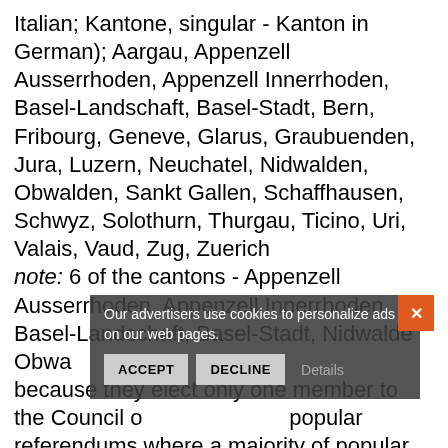Italian; Kantone, singular - Kanton in German); Aargau, Appenzell Ausserrhoden, Appenzell Innerrhoden, Basel-Landschaft, Basel-Stadt, Bern, Fribourg, Geneve, Glarus, Graubuenden, Jura, Luzern, Neuchatel, Nidwalden, Obwalden, Sankt Gallen, Schaffhausen, Schwyz, Solothurn, Thurgau, Ticino, Uri, Valais, Vaud, Zug, Zuerich
note: 6 of the cantons - Appenzell Ausserrhoden, Appenzell Innerrhoden, Basel-Landschaft, Basel-Stadt, Nidwalden, Obwalden are referred to as half cantons because they elect only one member to the Council of States and in popular referendums where a majority of popular votes and a majority of cantonal votes are